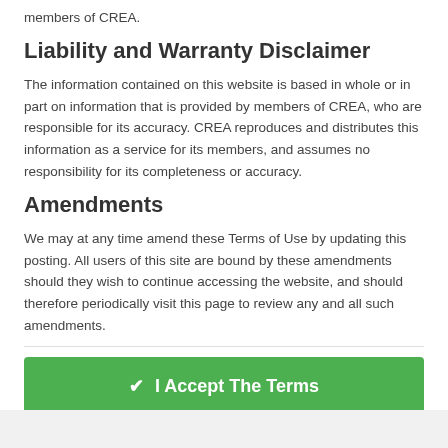members of CREA.
Liability and Warranty Disclaimer
The information contained on this website is based in whole or in part on information that is provided by members of CREA, who are responsible for its accuracy. CREA reproduces and distributes this information as a service for its members, and assumes no responsibility for its completeness or accuracy.
Amendments
We may at any time amend these Terms of Use by updating this posting. All users of this site are bound by these amendments should they wish to continue accessing the website, and should therefore periodically visit this page to review any and all such amendments.
✔ I Accept The Terms